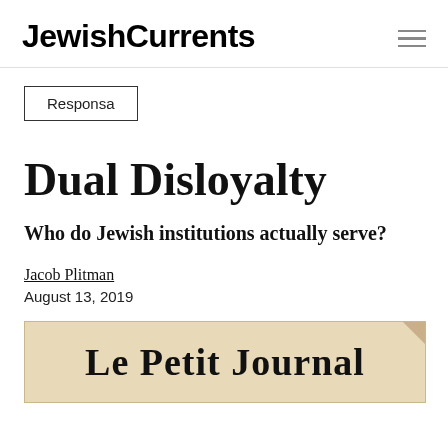Jewish Currents
Responsa
Dual Disloyalty
Who do Jewish institutions actually serve?
Jacob Plitman
August 13, 2019
[Figure (photo): Photograph of the front page of 'Le Petit Journal' newspaper, aged/yellowed paper]